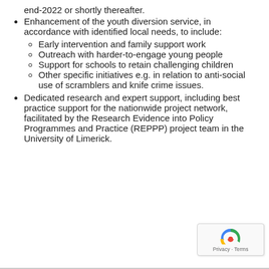end-2022 or shortly thereafter.
Enhancement of the youth diversion service, in accordance with identified local needs, to include:
Early intervention and family support work
Outreach with harder-to-engage young people
Support for schools to retain challenging children
Other specific initiatives e.g. in relation to anti-social use of scramblers and knife crime issues.
Dedicated research and expert support, including best practice support for the nationwide project network, facilitated by the Research Evidence into Policy Programmes and Practice (REPPP) project team in the University of Limerick.